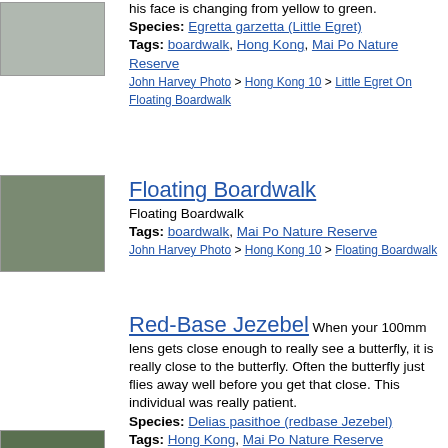his face is changing from yellow to green. Species: Egretta garzetta (Little Egret) Tags: boardwalk, Hong Kong, Mai Po Nature Reserve John Harvey Photo > Hong Kong 10 > Little Egret On Floating Boardwalk
[Figure (photo): Photo of Little Egret bird]
[Figure (photo): Photo of Floating Boardwalk]
Floating Boardwalk Floating Boardwalk Tags: boardwalk, Mai Po Nature Reserve John Harvey Photo > Hong Kong 10 > Floating Boardwalk
[Figure (photo): Photo of Red-Base Jezebel butterfly]
Red-Base Jezebel When your 100mm lens gets close enough to really see a butterfly, it is really close to the butterfly. Often the butterfly just flies away well before you get that close. This individual was really patient. Species: Delias pasithoe (redbase Jezebel) Tags: Hong Kong, Mai Po Nature Reserve, ventral